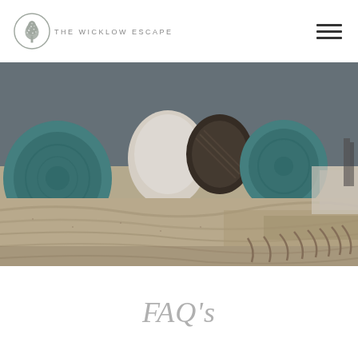THE WICKLOW ESCAPE
[Figure (photo): Close-up photo of a cozy bed with a textured beige/tan throw blanket in the foreground and teal/turquoise round cushions and white/patterned pillows in the blurred background]
FAQ's